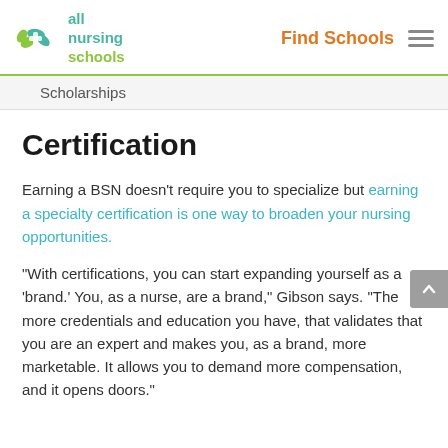all nursing schools | Find Schools
Scholarships
Certification
Earning a BSN doesn't require you to specialize but earning a specialty certification is one way to broaden your nursing opportunities.
“With certifications, you can start expanding yourself as a ‘brand.’ You, as a nurse, are a brand,” Gibson says. “The more credentials and education you have, that validates that you are an expert and makes you, as a brand, more marketable. It allows you to demand more compensation, and it opens doors.”